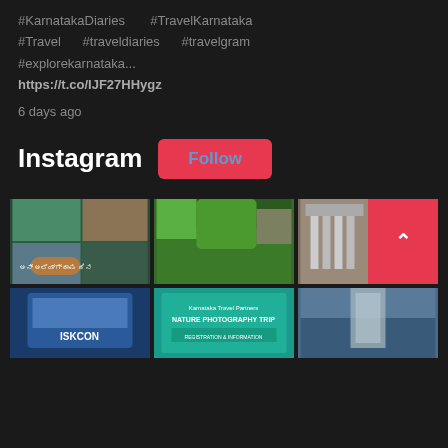#KarnatakaDiaries #TravelKarnataka #Travel #traveldiaries #travelgram #explorekarnataka... https://t.co/IJF27HHygz
6 days ago
Instagram
Follow
[Figure (photo): Instagram grid with 6 travel photos of Karnataka including waterfall collage, green hills, temple, ISKCON building, photography event poster, and waterfall]
[Figure (other): Back to top arrow button (red with upward chevron)]